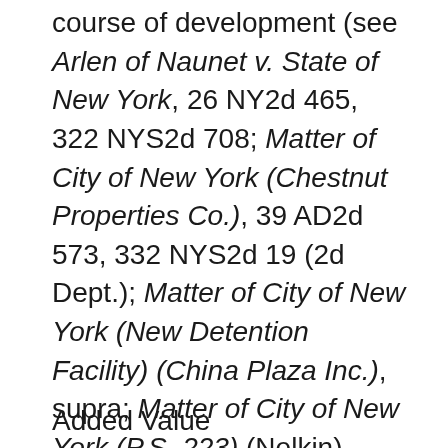course of development (see Arlen of Naunet v. State of New York, 26 NY2d 465, 322 NYS2d 708; Matter of City of New York (Chestnut Properties Co.), 39 AD2d 573, 332 NYS2d 19 (2d Dept.); Matter of City of New York (New Detention Facility) (China Plaza Inc.), supra; Matter of City of New York (P.S. 223) (Nelkin), supra.
Added Value